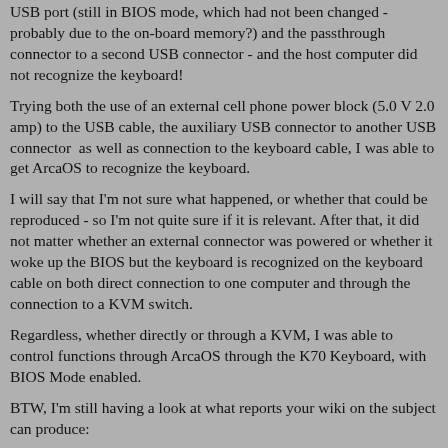USB port (still in BIOS mode, which had not been changed - probably due to the on-board memory?) and the passthrough connector to a second USB connector - and the host computer did not recognize the keyboard!
Trying both the use of an external cell phone power block (5.0 V 2.0 amp) to the USB cable, the auxiliary USB connector to another USB connector  as well as connection to the keyboard cable, I was able to get ArcaOS to recognize the keyboard.
I will say that I'm not sure what happened, or whether that could be reproduced - so I'm not quite sure if it is relevant. After that, it did not matter whether an external connector was powered or whether it woke up the BIOS but the keyboard is recognized on the keyboard cable on both direct connection to one computer and through the connection to a KVM switch.
Regardless, whether directly or through a KVM, I was able to control functions through ArcaOS through the K70 Keyboard, with BIOS Mode enabled.
BTW, I'm still having a look at what reports your wiki on the subject can produce:
https://www.os2world.com/wiki/index.php/Extracting_Hardware_Inf